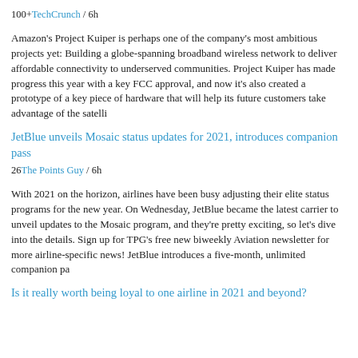100+TechCrunch / 6h
Amazon's Project Kuiper is perhaps one of the company's most ambitious projects yet: Building a globe-spanning broadband wireless network to deliver affordable connectivity to underserved communities. Project Kuiper has made progress this year with a key FCC approval, and now it's also created a prototype of a key piece of hardware that will help its future customers take advantage of the satelli
JetBlue unveils Mosaic status updates for 2021, introduces companion pass
26The Points Guy / 6h
With 2021 on the horizon, airlines have been busy adjusting their elite status programs for the new year. On Wednesday, JetBlue became the latest carrier to unveil updates to the Mosaic program, and they're pretty exciting, so let's dive into the details. Sign up for TPG's free new biweekly Aviation newsletter for more airline-specific news! JetBlue introduces a five-month, unlimited companion pa
Is it really worth being loyal to one airline in 2021 and beyond?